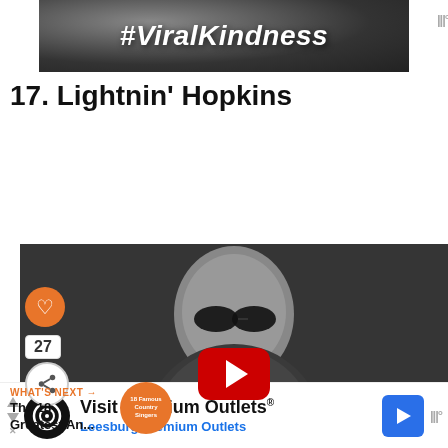[Figure (photo): Advertisement banner with text '#ViralKindness' on dark textured background]
17. Lightnin' Hopkins
[Figure (photo): Black and white video thumbnail of Lightnin' Hopkins playing guitar, wearing sunglasses, with YouTube play button overlay. Like button (heart icon, orange), count 27, and share button visible on left side. 'WHAT'S NEXT' navigation showing 'The 18 Greatest An...' with an orange circular thumbnail.]
[Figure (photo): Advertisement for 'Visit Premium Outlets® - Leesburg Premium Outlets' with infinity logo on black circle, navigation arrow icon, and mute icon]